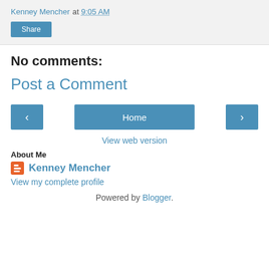Kenney Mencher at 9:05 AM
Share
No comments:
Post a Comment
‹  Home  ›
View web version
About Me
Kenney Mencher
View my complete profile
Powered by Blogger.